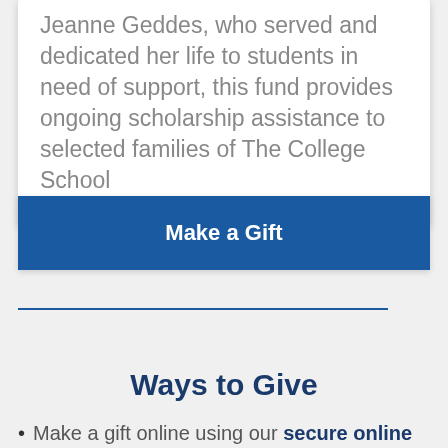Jeanne Geddes, who served and dedicated her life to students in need of support, this fund provides ongoing scholarship assistance to selected families of The College School
Make a Gift
Ways to Give
Make a gift online using our secure online